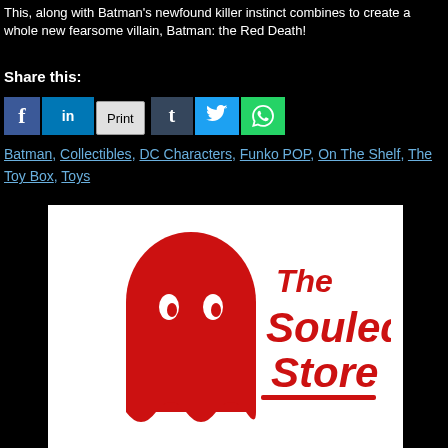This, along with Batman's newfound killer instinct combines to create a whole new fearsome villain, Batman: the Red Death!
Share this:
[Figure (other): Social share buttons: Facebook, LinkedIn, Print, Tumblr, Twitter, WhatsApp]
Batman, Collectibles, DC Characters, Funko POP, On The Shelf, The Toy Box, Toys
[Figure (logo): The Souled Store logo — red ghost mascot with red script text on white background]